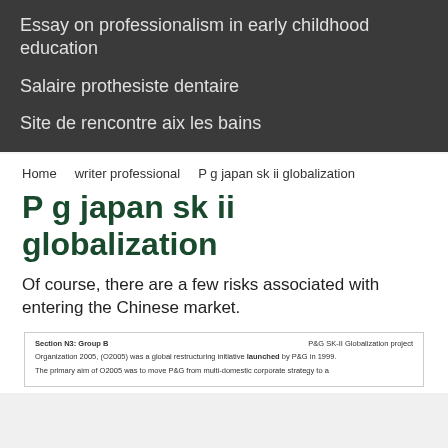Essay on professionalism in early childhood education
Salaire prothesiste dentaire
Site de rencontre aix les bains
Home    writer professional    P g japan sk ii globalization
P g japan sk ii globalization
Of course, there are a few risks associated with entering the Chinese market.
Section N3: Group B    P&G SK-II Globalization project
Organization 2005, (O2005) was a global restructuring initiative launched by P&G in 1999.
The primary aim of O2005 was to move P&G from multi-domestic corporate strategy to a